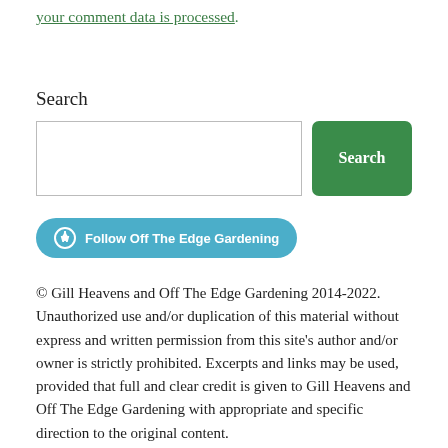your comment data is processed.
Search
[Figure (screenshot): Search input box and green Search button]
[Figure (screenshot): Follow Off The Edge Gardening button in teal/blue]
© Gill Heavens and Off The Edge Gardening 2014-2022. Unauthorized use and/or duplication of this material without express and written permission from this site's author and/or owner is strictly prohibited. Excerpts and links may be used, provided that full and clear credit is given to Gill Heavens and Off The Edge Gardening with appropriate and specific direction to the original content.